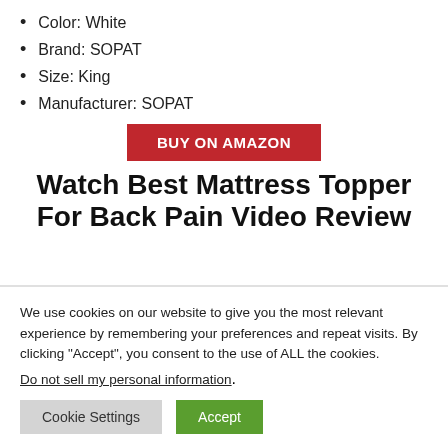Color: White
Brand: SOPAT
Size: King
Manufacturer: SOPAT
[Figure (other): Red button labeled BUY ON AMAZON]
Watch Best Mattress Topper For Back Pain Video Review
We use cookies on our website to give you the most relevant experience by remembering your preferences and repeat visits. By clicking “Accept”, you consent to the use of ALL the cookies.
Do not sell my personal information.